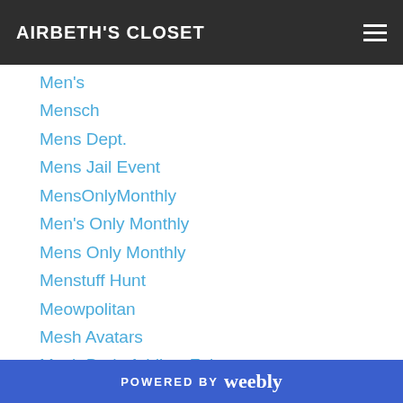AIRBETH'S CLOSET
Men's
Mensch
Mens Dept.
Mens Jail Event
MensOnlyMonthly
Men's Only Monthly
Mens Only Monthly
Menstuff Hunt
Meowpolitan
Mesh Avatars
Mesh Body Addicts Fair
Meshmafia
MG
MGmen
Michan
POWERED BY weebly